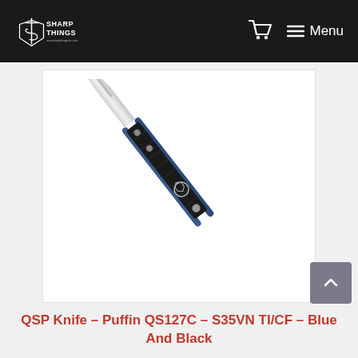Sharp Things — Menu
[Figure (photo): A folding pocket knife with a blue and black titanium/carbon fiber handle and a silver satin-finished blade, displayed against a white background. The QSP Puffin QS127C model with S35VN steel, TI/CF handle in blue and black colorway.]
QSP Knife – Puffin QS127C – S35VN TI/CF – Blue And Black